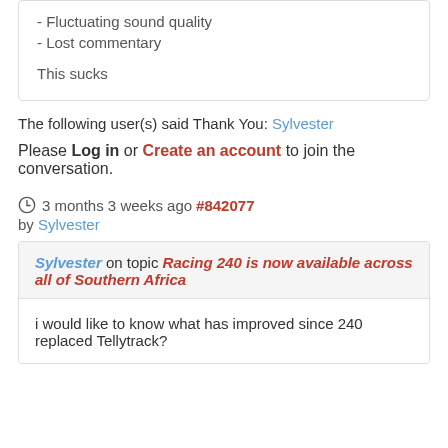- Fluctuating sound quality
- Lost commentary
This sucks
The following user(s) said Thank You: Sylvester
Please Log in or Create an account to join the conversation.
3 months 3 weeks ago #842077
by Sylvester
Sylvester on topic Racing 240 is now available across all of Southern Africa
i would like to know what has improved since 240 replaced Tellytrack?